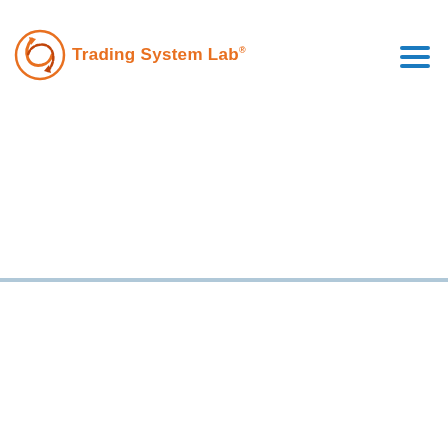Trading System Lab®
[Figure (logo): Trading System Lab logo with orange DNA/spiral graphic and orange text 'Trading System Lab®', plus blue hamburger menu icon in top right]
[Figure (other): Gray button and green button below a horizontal rule, in bottom section of page]